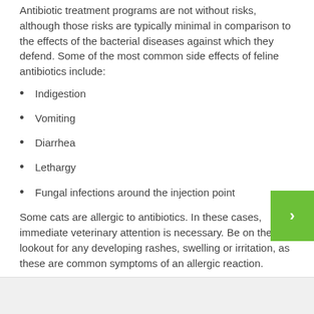Antibiotic treatment programs are not without risks, although those risks are typically minimal in comparison to the effects of the bacterial diseases against which they defend. Some of the most common side effects of feline antibiotics include:
Indigestion
Vomiting
Diarrhea
Lethargy
Fungal infections around the injection point
Some cats are allergic to antibiotics. In these cases, immediate veterinary attention is necessary. Be on the lookout for any developing rashes, swelling or irritation, as these are common symptoms of an allergic reaction.
Common Feline Antibiotics
Some of the most commonly prescribed feline antibiotics include